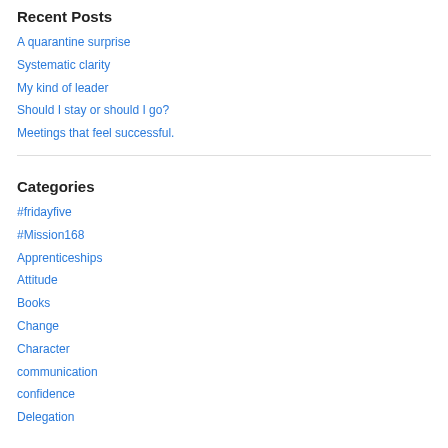Recent Posts
A quarantine surprise
Systematic clarity
My kind of leader
Should I stay or should I go?
Meetings that feel successful.
Categories
#fridayfive
#Mission168
Apprenticeships
Attitude
Books
Change
Character
communication
confidence
Delegation